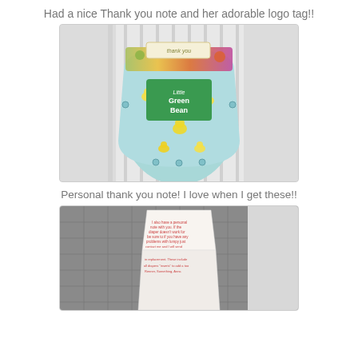Had a nice Thank you note and her adorable logo tag!!
[Figure (photo): A folded cloth diaper with a rubber duckies print pattern, featuring a green 'Little Green Bean' logo tag, placed on white fabric. A small 'thank you' note card is visible at the top.]
Personal thank you note! I love when I get these!!
[Figure (photo): A handwritten personal thank you note card propped up against a gray quilted fabric background, with small red/pink text visible on the card.]